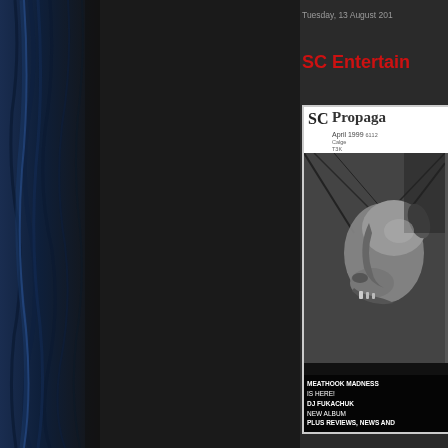Tuesday, 13 August 201
SC Entertain
[Figure (photo): Cover of SC Propaganda magazine, April 1999, featuring a dark black-and-white photo of an animal skull or dog skull, with text: MEATHOOK MADNESS IS HERE! DJ FUKACHUK NEW ALBUM PLUS REVIEWS, NEWS AND]
[Figure (photo): Left side background with blue draped fabric against dark background]